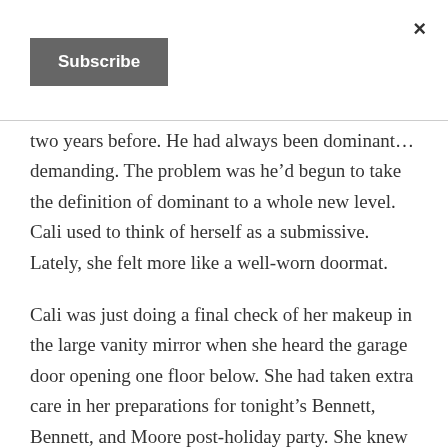×
Subscribe
two years before. He had always been dominant… demanding. The problem was he'd begun to take the definition of dominant to a whole new level. Cali used to think of herself as a submissive. Lately, she felt more like a well-worn doormat.
Cali was just doing a final check of her makeup in the large vanity mirror when she heard the garage door opening one floor below. She had taken extra care in her preparations for tonight's Bennett, Bennett, and Moore post-holiday party. She knew how important it was to her husband.
She may not have understood why Kevin had singled